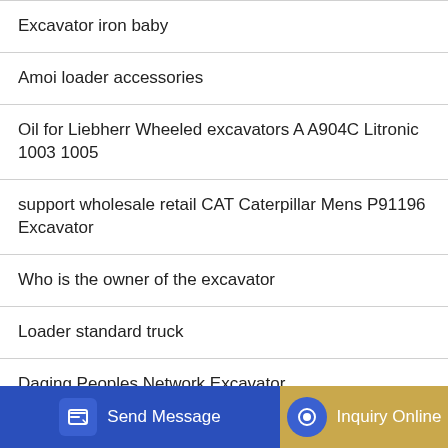Excavator iron baby
Amoi loader accessories
Oil for Liebherr Wheeled excavators A A904C Litronic 1003 1005
support wholesale retail CAT Caterpillar Mens P91196 Excavator
Who is the owner of the excavator
Loader standard truck
Daqing Peoples Network Excavator
What accessories are needed for the loader
...Excava...